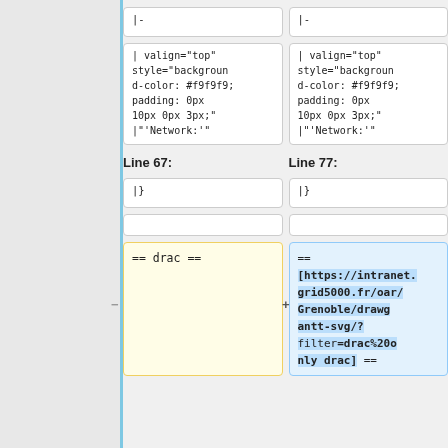| Left | Right |
| --- | --- |
| |- | |- |
| | valign="top" style="background-color: #f9f9f9; padding: 0px 10px 0px 3px;" |"'Network:'" | | valign="top" style="background-color: #f9f9f9; padding: 0px 10px 0px 3px;" |"'Network:'" |
| Line 67: | Line 77: |
| |} | |} |
|  |  |
| == drac == | ==
[https://intranet.grid5000.fr/oar/Grenoble/drawgantt-svg/?filter=drac%20only drac] == |